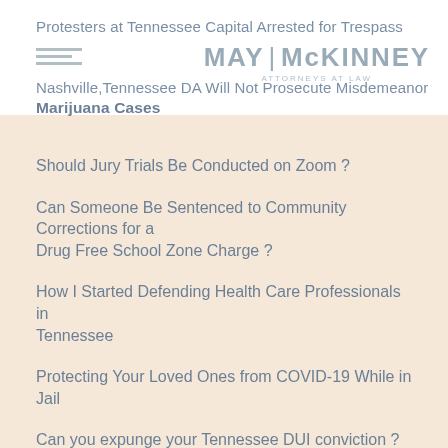Protesters at Tennessee Capital Arrested for Trespass
[Figure (logo): May McKinney Attorneys at Law logo with horizontal lines and firm name]
Nashville,Tennessee DA Will Not Prosecute Misdemeanor Marijuana Cases
Should Jury Trials Be Conducted on Zoom ?
Can Someone Be Sentenced to Community Corrections for a Drug Free School Zone Charge ?
How I Started Defending Health Care Professionals in Tennessee
Protecting Your Loved Ones from COVID-19 While in Jail
Can you expunge your Tennessee DUI conviction ?
Nashville, Tn. Police Department Will Not Have Body Cams
Unfair Police Practices in Tennessee DUI Cases
Lessons From the Courtroom